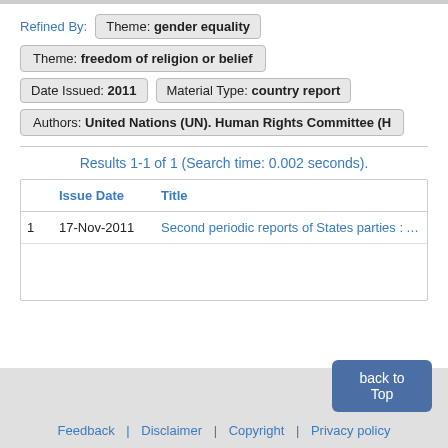Refined By:  Theme: gender equality
Theme: freedom of religion or belief
Date Issued: 2011  |  Material Type: country report
Authors: United Nations (UN). Human Rights Committee (H...
Results 1-1 of 1 (Search time: 0.002 seconds).
|  | Issue Date | Title |
| --- | --- | --- |
| 1 | 17-Nov-2011 | Second periodic reports of States parties : Alb... |
Feedback  |  Disclaimer  |  Copyright  |  Privacy policy